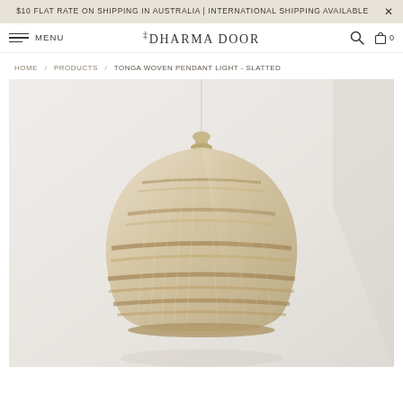$10 FLAT RATE ON SHIPPING IN AUSTRALIA | INTERNATIONAL SHIPPING AVAILABLE
MENU | THE DHARMA DOOR | Search | Cart 0
HOME / PRODUCTS / TONGA WOVEN PENDANT LIGHT - SLATTED
[Figure (photo): A natural woven rattan/bamboo pendant light shade (Tonga Woven Pendant Light - Slatted) hanging against a light grey/white wall. The shade has a dome shape with a narrow neck at the top, and is made of slatted woven material in a natural beige/tan color.]